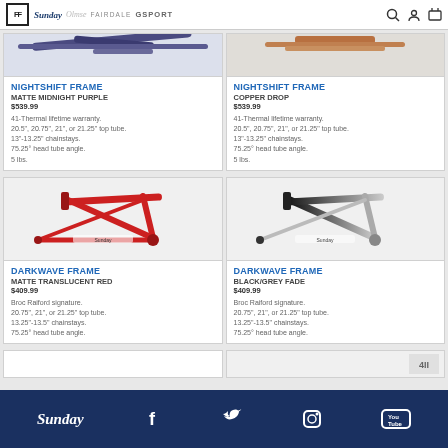FF Sunday Chase Fairdale GSPORT
[Figure (photo): Nightshift Frame in Matte Midnight Purple - partial top view of BMX frame]
[Figure (photo): Nightshift Frame in Copper Drop - partial top view of BMX frame]
NIGHTSHIFT FRAME
MATTE MIDNIGHT PURPLE
$539.99

41-Thermal lifetime warranty.
20.5", 20.75", 21", or 21.25" top tube.
13"-13.25" chainstays.
75.25° head tube angle.
5 lbs.
NIGHTSHIFT FRAME
COPPER DROP
$539.99

41-Thermal lifetime warranty.
20.5", 20.75", 21", or 21.25" top tube.
13"-13.25" chainstays.
75.25° head tube angle.
5 lbs.
[Figure (photo): Darkwave Frame in Matte Translucent Red - BMX frame side view]
[Figure (photo): Darkwave Frame in Black/Grey Fade - BMX frame side view]
DARKWAVE FRAME
MATTE TRANSLUCENT RED
$409.99

Broc Raiford signature.
20.75", 21", or 21.25" top tube.
13.25"-13.5" chainstays.
75.25° head tube angle.
DARKWAVE FRAME
BLACK/GREY FADE
$409.99

Broc Raiford signature.
20.75", 21", or 21.25" top tube.
13.25"-13.5" chainstays.
75.25° head tube angle.
Sunday  Facebook  Twitter  Instagram  YouTube